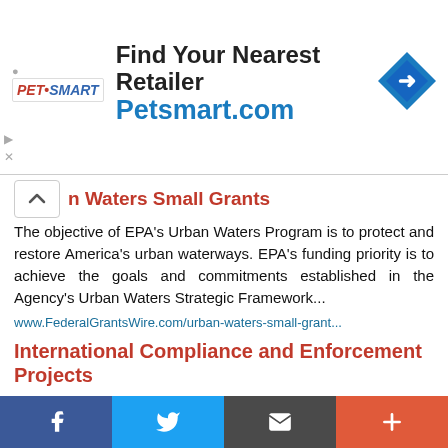[Figure (infographic): PetSmart advertisement banner: Find Your Nearest Retailer at Petsmart.com with PetSmart logo and blue diamond arrow icon]
n Waters Small Grants
The objective of EPA's Urban Waters Program is to protect and restore America's urban waterways. EPA's funding priority is to achieve the goals and commitments established in the Agency's Urban Waters Strategic Framework...
www.FederalGrantsWire.com/urban-waters-small-grant...
International Compliance and Enforcement Projects
The primary purpose of the proposed capacity building projects is to protect human health and the environment while advancing U.S. national interests through international environmental collaboration on environmental compliance and enforcement....
www.FederalGrantsWire.com/international-compliance...
The San Francisco Bay Water Quality Improvement
Facebook | Twitter | Email | More